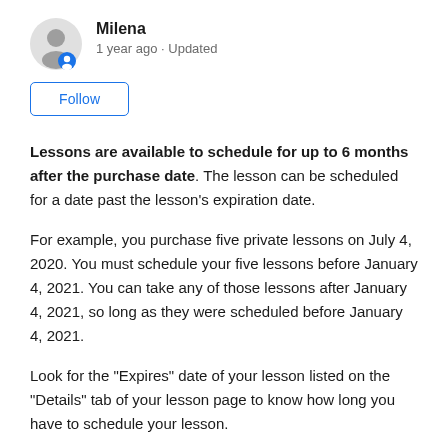Milena
1 year ago · Updated
Follow
Lessons are available to schedule for up to 6 months after the purchase date. The lesson can be scheduled for a date past the lesson's expiration date.
For example, you purchase five private lessons on July 4, 2020. You must schedule your five lessons before January 4, 2021. You can take any of those lessons after January 4, 2021, so long as they were scheduled before January 4, 2021.
Look for the "Expires" date of your lesson listed on the "Details" tab of your lesson page to know how long you have to schedule your lesson.